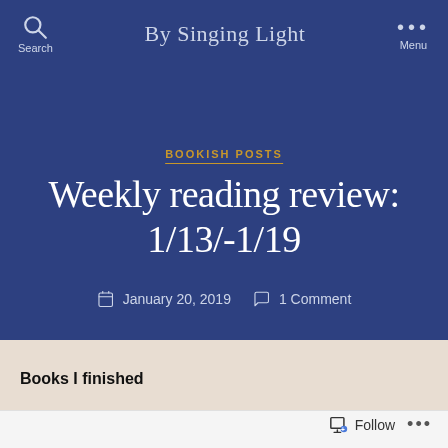By Singing Light
BOOKISH POSTS
Weekly reading review: 1/13/-1/19
January 20, 2019   1 Comment
Books I finished
[Figure (screenshot): Follow and more options bar at bottom of page]